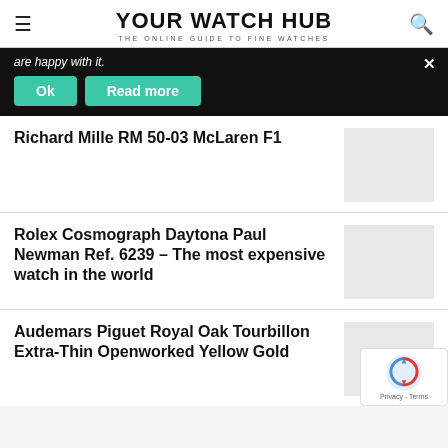YOUR WATCH HUB — THE ONLINE GUIDE TO FINE WATCHES
are happy with it.
Ok   Read more
Richard Mille RM 50-03 McLaren F1
Rolex Cosmograph Daytona Paul Newman Ref. 6239 – The most expensive watch in the world
Audemars Piguet Royal Oak Tourbillon Extra-Thin Openworked Yellow Gold